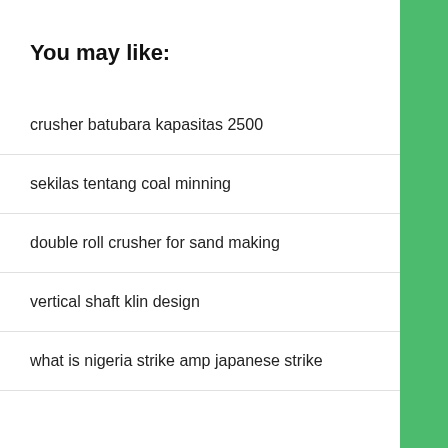You may like:
crusher batubara kapasitas 2500
sekilas tentang coal minning
double roll crusher for sand making
vertical shaft klin design
what is nigeria strike amp japanese strike